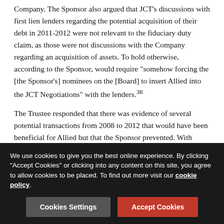Company. The Sponsor also argued that JCT's discussions with first lien lenders regarding the potential acquisition of their debt in 2011-2012 were not relevant to the fiduciary duty claim, as those were not discussions with the Company regarding an acquisition of assets. To hold otherwise, according to the Sponsor, would require "somehow forcing the [the Sponsor's] nominees on the [Board] to insert Allied into the JCT Negotiations" with the lenders.38
The Trustee responded that there was evidence of several potential transactions from 2008 to 2012 that would have been beneficial for Allied but that the Sponsor prevented. With regard to the 2011-2012 debt negotiations, citing testimony from numerous witnesses, the Trustee argued that the fact that JCT was discussing purchasing debt from lenders instead of purchasing assets from the Company was irrelevant, as JCT was pursuing a debt transaction as a means of acquiring
We use cookies to give you the best online experience. By clicking "Accept Cookies" or clicking into any content on this site, you agree to allow cookies to be placed. To find out more visit our cookie policy.